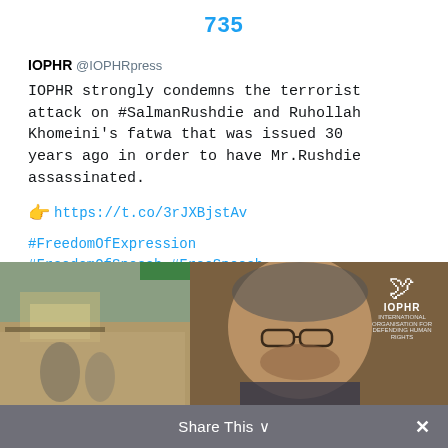735
IOPHR @IOPHRpress
IOPHR strongly condemns the terrorist attack on #SalmanRushdie and Ruhollah Khomeini's fatwa that was issued 30 years ago in order to have Mr.Rushdie assassinated.

👉 https://t.co/3rJXBjstAv

#FreedomOfExpression
#FreedomOfSpeech #FreeSpeech
https://t.co/pZWMSbf1Sf
[Figure (photo): Photo showing a man with glasses (Salman Rushdie) and a scene in background, with IOPHR dove logo badge overlay in top right]
Share This ∨
IOPHR strongly condemns the terrorist attack...